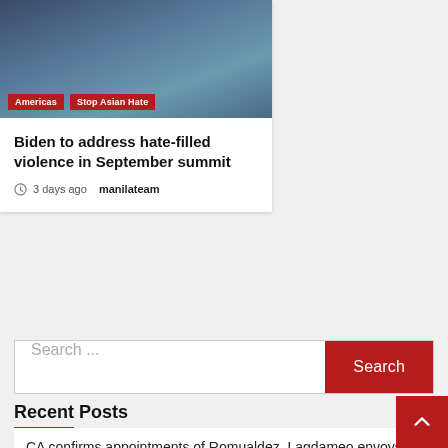[Figure (photo): Photo of Biden and others at an event, partial view cropped at top]
Americas   Stop Asian Hate
Biden to address hate-filled violence in September summit
3 days ago   manilateam
Search ...
Recent Posts
CA confirms appointments of Romualdez, Lagdameo envoys to US, UN